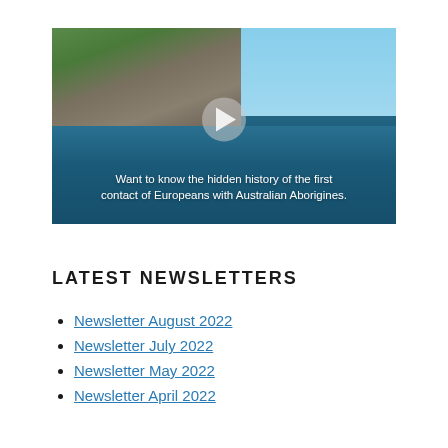[Figure (photo): A video thumbnail showing coastal cliffs with ocean water and a play button overlay. Text on image reads: 'Want to know the hidden history of the first contact of Europeans with Australian Aborigines.']
LATEST NEWSLETTERS
Newsletter August 2022
Newsletter July 2022
Newsletter May 2022
Newsletter April 2022